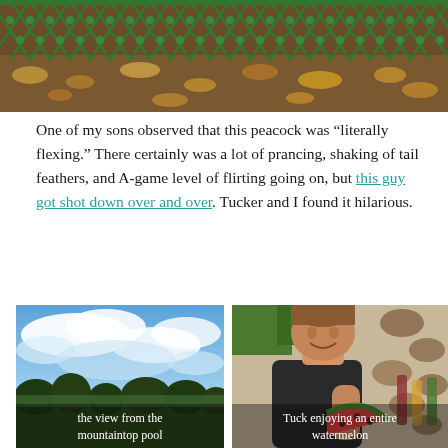[Figure (photo): Close-up photo of a green chain-link fence with autumn leaves on the ground beneath it]
One of my sons observed that this peacock was “literally flexing.” There certainly was a lot of prancing, shaking of tail feathers, and A-game level of flirting going on, but this guy got shot down over and over. Tucker and I found it hilarious.
[Figure (photo): View of blue sky with clouds and tree silhouettes from a mountaintop pool]
the view from the mountaintop pool
[Figure (photo): Young boy named Tuck smiling and eating a large slice of watermelon]
Tuck enjoying an entire watermelon